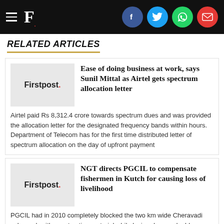Firstpost. [social icons: Facebook, Twitter, WhatsApp, Email]
RELATED ARTICLES
[Figure (logo): Firstpost logo thumbnail]
Ease of doing business at work, says Sunil Mittal as Airtel gets spectrum allocation letter
Airtel paid Rs 8,312.4 crore towards spectrum dues and was provided the allocation letter for the designated frequency bands within hours. Department of Telecom has for the first time distributed letter of spectrum allocation on the day of upfront payment
[Figure (logo): Firstpost logo thumbnail]
NGT directs PGCIL to compensate fishermen in Kutch for causing loss of livelihood
PGCIL had in 2010 completely blocked the two km wide Cheravadi sub-creek with construction material while laying down a double circuit...